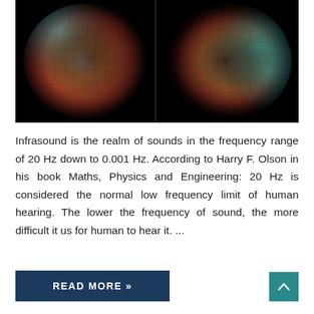[Figure (illustration): Two side-by-side abstract circular sound wave visualizations on black background. Left image shows an orange/teal/brown mosaic sphere with grid pattern. Right image shows a similar sphere with more teal/orange gradient, rotated differently.]
Infrasound is the realm of sounds in the frequency range of 20 Hz down to 0.001 Hz. According to Harry F. Olson in his book Maths, Physics and Engineering: 20 Hz is considered the normal low frequency limit of human hearing. The lower the frequency of sound, the more difficult it us for human to hear it. ...
READ MORE »